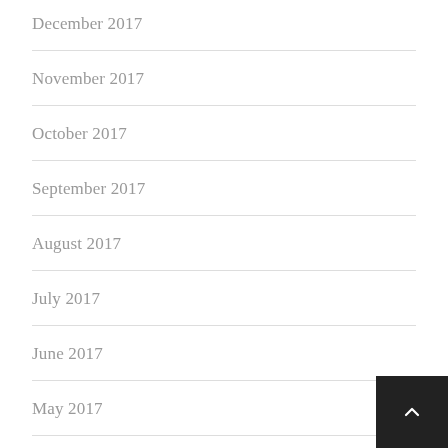December 2017
November 2017
October 2017
September 2017
August 2017
July 2017
June 2017
May 2017
April 2017
March 2017
June 2010